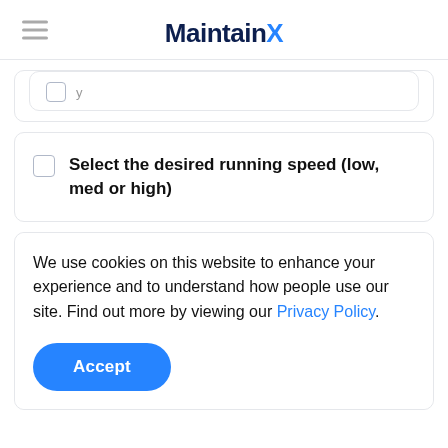MaintainX
Select the desired running speed (low, med or high)
We use cookies on this website to enhance your experience and to understand how people use our site. Find out more by viewing our Privacy Policy.